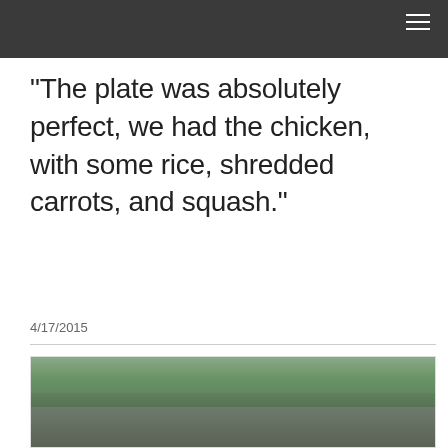"The plate was absolutely perfect, we had the chicken, with some rice, shredded carrots, and squash."
4/17/2015
[Figure (photo): Group of people outdoors with green tree-covered hills in the background. Several adults and children posing together, one person wearing an orange cap.]